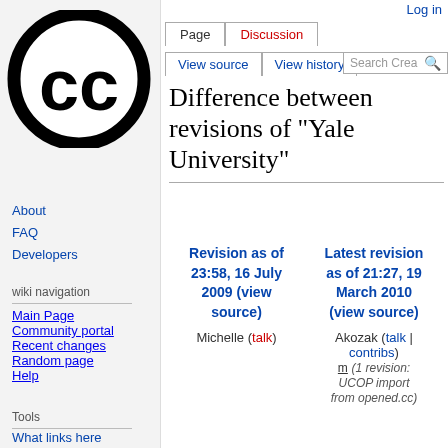[Figure (logo): Creative Commons CC logo — black circle with 'cc' letters inside]
About
FAQ
Developers
wiki navigation
Main Page
Community portal
Recent changes
Random page
Help
Tools
What links here
Related changes
Log in
Difference between revisions of "Yale University"
| Revision as of 23:58, 16 July 2009 (view source) | Latest revision as of 21:27, 19 March 2010 (view source) |
| --- | --- |
| Michelle (talk) | Akozak (talk | contribs) |
|  | m (1 revision: UCOP import from opened.cc) |